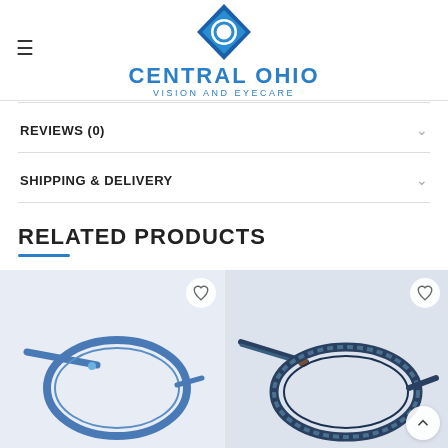Central Ohio Vision and Eyecare
REVIEWS (0)
SHIPPING & DELIVERY
RELATED PRODUCTS
[Figure (photo): Two related eyeglass frame products shown as product thumbnails with heart/wishlist icons]
[Figure (logo): Central Ohio Vision and Eyecare logo with diamond eye icon in blue]